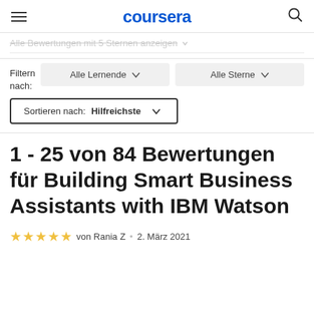coursera
Alle Bewertungen mit 5 Sternen anzeigen
Filtern nach: Alle Lernende   Alle Sterne
Sortieren nach: Hilfreichste
1 - 25 von 84 Bewertungen für Building Smart Business Assistants with IBM Watson
von Rania Z • 2. März 2021